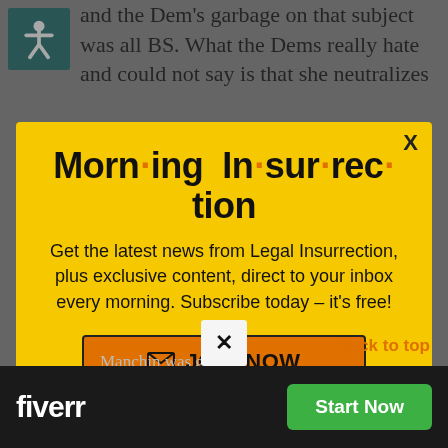and the Dem's garbage on that subject was all BS. What the Dems really hate and could not say is that she neutralizes
[Figure (screenshot): Yellow modal popup for Morning Insurrection newsletter subscription with orange JOIN NOW button]
X
Morn·ing In·sur·rec·tion
Get the latest news from Legal Insurrection, plus exclusive content, direct to your inbox every morning. Subscribe today – it's free!
JOIN NOW
Back to top
Manchin was given
Kavanaugh when it was
[Figure (logo): Fiverr logo on black bar with Start Now green button]